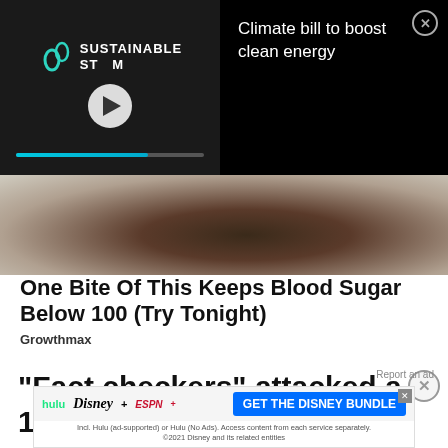[Figure (screenshot): Video player overlay with Sustainable Storm logo and play button, dark background, with progress bar. Right side shows black panel with text 'Climate bill to boost clean energy' and a close button.]
Climate bill to boost clean energy
[Figure (photo): Close-up blurred photo of dark round objects on a light background, likely food items.]
One Bite Of This Keeps Blood Sugar Below 100 (Try Tonight)
Growthmax
"Fact checkers" attacked a 10-year-old rape victim's abortion story, and the rest is conservative
Report an ad
[Figure (screenshot): Disney Bundle advertisement banner showing Hulu, Disney+, and ESPN+ logos with 'GET THE DISNEY BUNDLE' button. Fine print: Incl. Hulu (ad-supported) or Hulu (No Ads). Access content from each service separately. ©2021 Disney and its related entities]